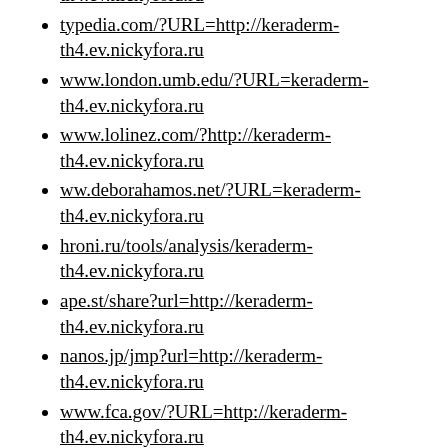th4.ev.nickyfora.ru
typedia.com/?URL=http://keraderm-th4.ev.nickyfora.ru
www.london.umb.edu/?URL=keraderm-th4.ev.nickyfora.ru
www.lolinez.com/?http://keraderm-th4.ev.nickyfora.ru
ww.deborahamos.net/?URL=keraderm-th4.ev.nickyfora.ru
hroni.ru/tools/analysis/keraderm-th4.ev.nickyfora.ru
ape.st/share?url=http://keraderm-th4.ev.nickyfora.ru
nanos.jp/jmp?url=http://keraderm-th4.ev.nickyfora.ru
www.fca.gov/?URL=http://keraderm-th4.ev.nickyfora.ru
www.leefilters.com/?URL=keraderm-th4.ev.nickyfora.ru